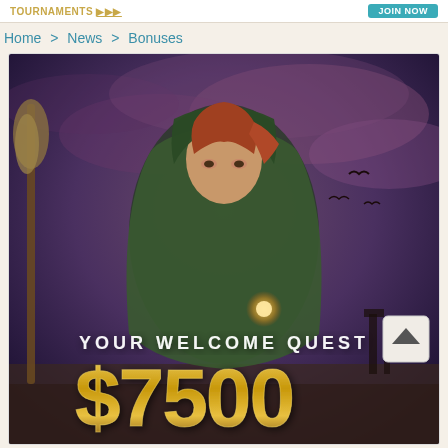TOURNAMENTS [link] | [Join button]
Home > News > Bonuses
[Figure (illustration): Promotional banner for an online casino showing a fantasy witch/sorceress character in a green hooded cloak holding a broom, with glowing magic in her hand. Dark purple/mauve atmospheric sky background with birds. Text overlay reads 'YOUR WELCOME QUEST' and '$7500' in large gold letters.]